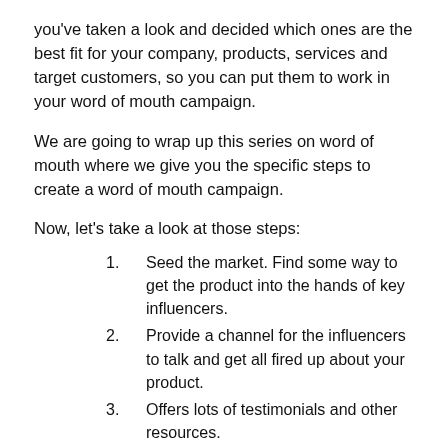you've taken a look and decided which ones are the best fit for your company, products, services and target customers, so you can put them to work in your word of mouth campaign.
We are going to wrap up this series on word of mouth where we give you the specific steps to create a word of mouth campaign.
Now, let's take a look at those steps:
Seed the market. Find some way to get the product into the hands of key influencers.
Provide a channel for the influencers to talk and get all fired up about your product.
Offers lots of testimonials and other resources.
Form an ongoing group that meets once a year in a resort and once a month by teleconference.
Create fun events to bring users together and invite non-users. Saturn, Harley-Davidson, and Lexus have all been successful with this approach.
Develop cassettes, videotapes, and clips on your Website featuring enthusiastic customers talking